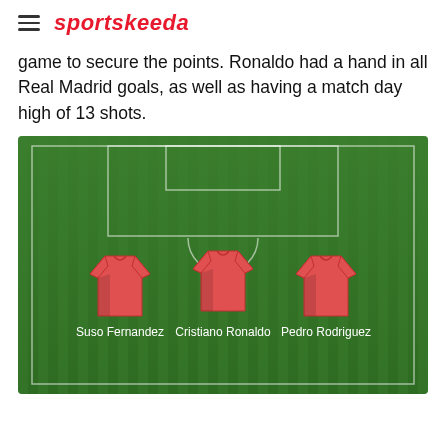sportskeeda
game to secure the points. Ronaldo had a hand in all Real Madrid goals, as well as having a match day high of 13 shots.
[Figure (infographic): Football pitch diagram showing three player jerseys on a green grass field with white pitch markings. Players shown are Suso Fernandez (left), Cristiano Ronaldo (center), and Pedro Rodriguez (right), all wearing red jerseys.]